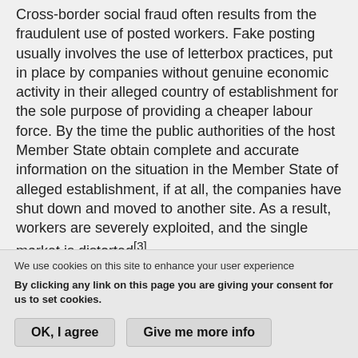Cross-border social fraud often results from the fraudulent use of posted workers. Fake posting usually involves the use of letterbox practices, put in place by companies without genuine economic activity in their alleged country of establishment for the sole purpose of providing a cheaper labour force. By the time the public authorities of the host Member State obtain complete and accurate information on the situation in the Member State of alleged establishment, if at all, the companies have shut down and moved to another site. As a result, workers are severely exploited, and the single market is distorted[3].
We use cookies on this site to enhance your user experience
By clicking any link on this page you are giving your consent for us to set cookies.